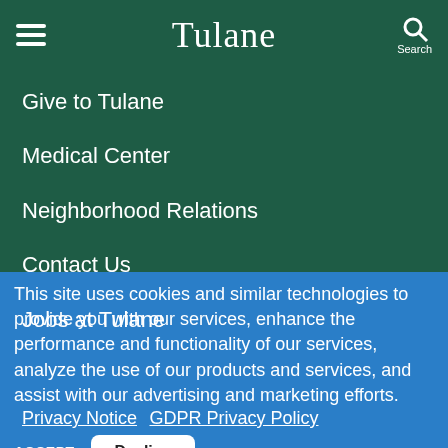Tulane
Give to Tulane
Medical Center
Neighborhood Relations
Contact Us
Jobs at Tulane
This site uses cookies and similar technologies to provide you with our services, enhance the performance and functionality of our services, analyze the use of our products and services, and assist with our advertising and marketing efforts. Privacy Notice GDPR Privacy Policy
ACCEPT Decline